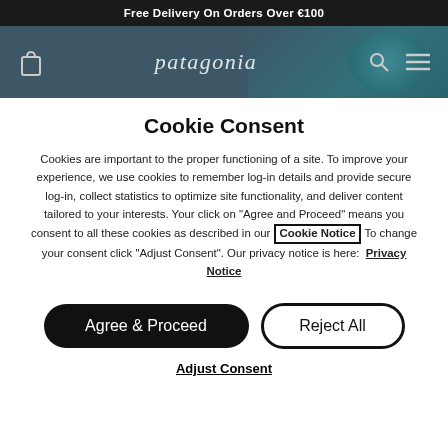Free Delivery On Orders Over €100
[Figure (screenshot): Patagonia website navigation bar with bag icon, Patagonia logo, search and menu icons on teal/dark background]
Cookie Consent
Cookies are important to the proper functioning of a site. To improve your experience, we use cookies to remember log-in details and provide secure log-in, collect statistics to optimize site functionality, and deliver content tailored to your interests. Your click on "Agree and Proceed" means you consent to all these cookies as described in our Cookie Notice To change your consent click "Adjust Consent". Our privacy notice is here: Privacy Notice
Agree & Proceed
Reject All
Adjust Consent